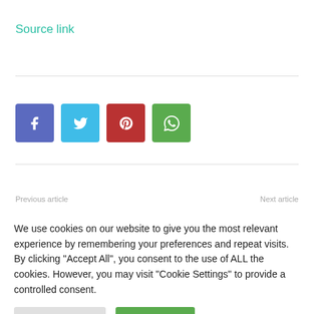Source link
[Figure (other): Social share buttons: Facebook (blue), Twitter (light blue), Pinterest (red), WhatsApp (green)]
Previous article
Next article
We use cookies on our website to give you the most relevant experience by remembering your preferences and repeat visits. By clicking "Accept All", you consent to the use of ALL the cookies. However, you may visit "Cookie Settings" to provide a controlled consent.
Cookie Settings
Accept All